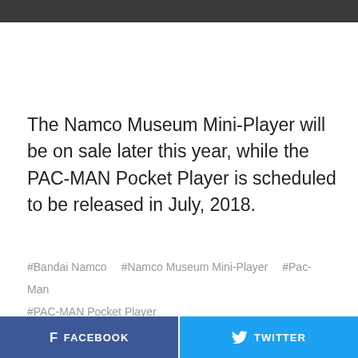The Namco Museum Mini-Player will be on sale later this year, while the PAC-MAN Pocket Player is scheduled to be released in July, 2018.
#Bandai Namco   #Namco Museum Mini-Player   #Pac-Man   #PAC-MAN Pocket Player
FACEBOOK   TWITTER